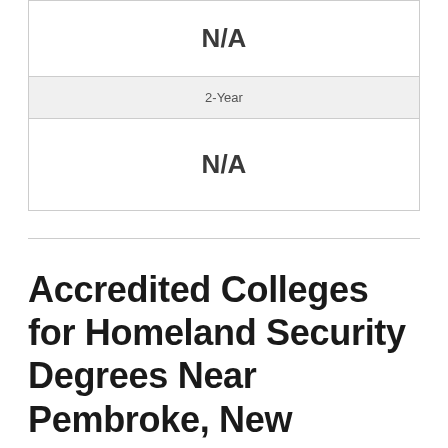| N/A |
| 2-Year |
| N/A |
Accredited Colleges for Homeland Security Degrees Near Pembroke, New Hampshire